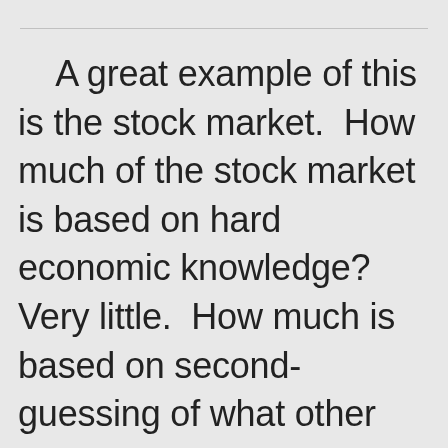A great example of this is the stock market.  How much of the stock market is based on hard economic knowledge?  Very little.  How much is based on second-guessing of what other people want? Almost all.  What bollocks.